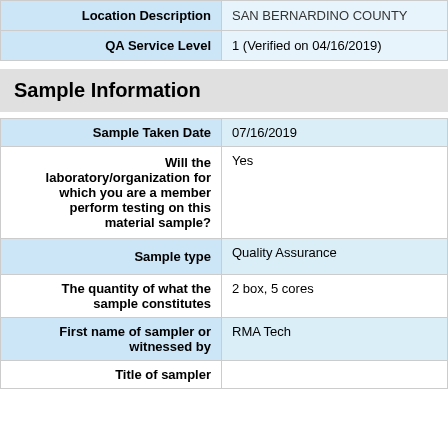| Location Description | QA Service Level |
| --- | --- |
| SAN BERNARDINO COUNTY ... | 1 (Verified on 04/16/2019) |
Sample Information
| Field | Value |
| --- | --- |
| Sample Taken Date | 07/16/2019 |
| Will the laboratory/organization for which you are a member perform testing on this material sample? | Yes |
| Sample type | Quality Assurance |
| The quantity of what the sample constitutes | 2 box, 5 cores |
| First name of sampler or witnessed by | RMA Tech |
| Title of sampler |  |